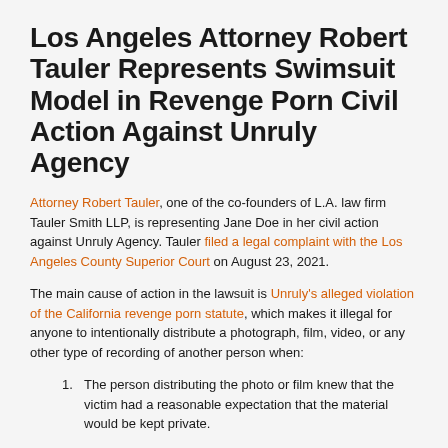Los Angeles Attorney Robert Tauler Represents Swimsuit Model in Revenge Porn Civil Action Against Unruly Agency
Attorney Robert Tauler, one of the co-founders of L.A. law firm Tauler Smith LLP, is representing Jane Doe in her civil action against Unruly Agency. Tauler filed a legal complaint with the Los Angeles County Superior Court on August 23, 2021.
The main cause of action in the lawsuit is Unruly's alleged violation of the California revenge porn statute, which makes it illegal for anyone to intentionally distribute a photograph, film, video, or any other type of recording of another person when:
The person distributing the photo or film knew that the victim had a reasonable expectation that the material would be kept private.